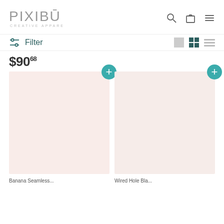[Figure (logo): PIXIBU CREATIVE APPAREL logo in grey thin lettering]
Filter
$90.68
[Figure (photo): Product card 1 with pink/blush background placeholder image and teal plus button]
[Figure (photo): Product card 2 with pink/blush background placeholder image and teal plus button]